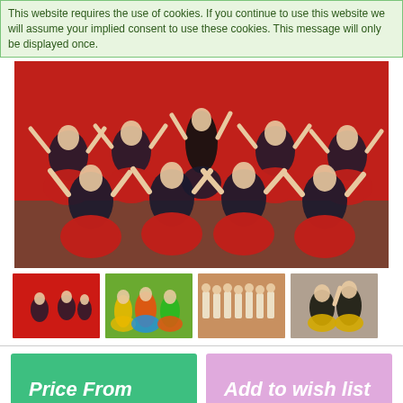This website requires the use of cookies. If you continue to use this website we will assume your implied consent to use these cookies. This message will only be displayed once.
[Figure (photo): Main large photo showing many dancers on stage wearing red skirts and black tops with arms raised, performing a folk dance on a stage with red backdrop.]
[Figure (photo): Thumbnail 1: Dancers in red costumes on a red background.]
[Figure (photo): Thumbnail 2: Colorful festival dancers in green, yellow, and red costumes outdoors.]
[Figure (photo): Thumbnail 3: Performers in matching uniforms marching in a parade or procession.]
[Figure (photo): Thumbnail 4: Two women in black and gold traditional costumes performing a dance.]
Price From
Add to wish list